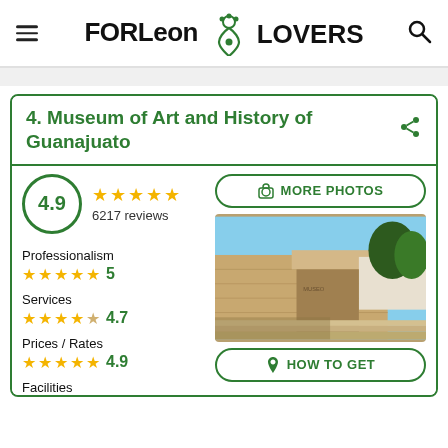FORLeon LOVERS
4. Museum of Art and History of Guanajuato
4.9 ★★★★★ 6217 reviews
Professionalism ★★★★★ 5
Services ★★★★☆ 4.7
Prices / Rates ★★★★★ 4.9
Facilities
[Figure (photo): Exterior photo of the Museum of Art and History of Guanajuato building, showing stone facade with trees and stairs]
MORE PHOTOS
HOW TO GET